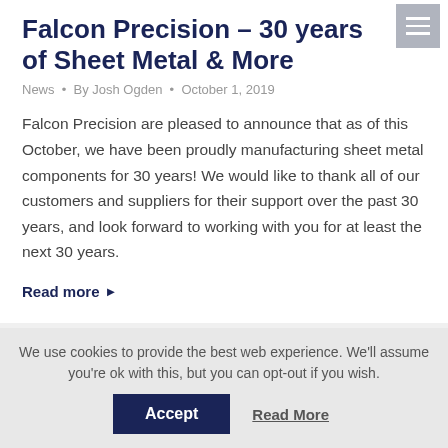Falcon Precision – 30 years of Sheet Metal & More
News · By Josh Ogden · October 1, 2019
Falcon Precision are pleased to announce that as of this October, we have been proudly manufacturing sheet metal components for 30 years! We would like to thank all of our customers and suppliers for their support over the past 30 years, and look forward to working with you for at least the next 30 years.
Read more ▶
We use cookies to provide the best web experience. We'll assume you're ok with this, but you can opt-out if you wish.